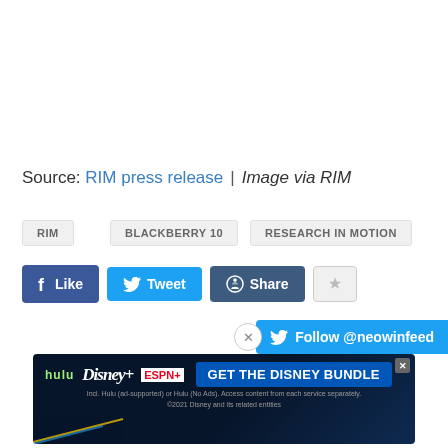Source: RIM press release | Image via RIM
RIM
BLACKBERRY 10
RESEARCH IN MOTION
[Figure (screenshot): Social share buttons: Like (Facebook), Tweet (Twitter), Share (Reddit), and a flag/report button]
[Figure (screenshot): Twitter follow bar: Follow @neowinfeed]
[Figure (screenshot): Disney Bundle advertisement banner with Hulu, Disney+, ESPN+ logos and GET THE DISNEY BUNDLE CTA]